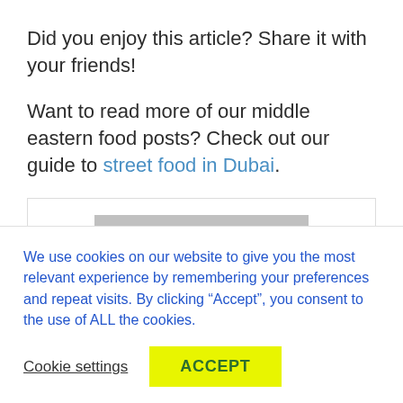Did you enjoy this article? Share it with your friends!
Want to read more of our middle eastern food posts? Check out our guide to street food in Dubai.
[Figure (illustration): Grey placeholder avatar image showing a generic person silhouette (head and shoulders) in a white-bordered box]
We use cookies on our website to give you the most relevant experience by remembering your preferences and repeat visits. By clicking “Accept”, you consent to the use of ALL the cookies.
Cookie settings  ACCEPT